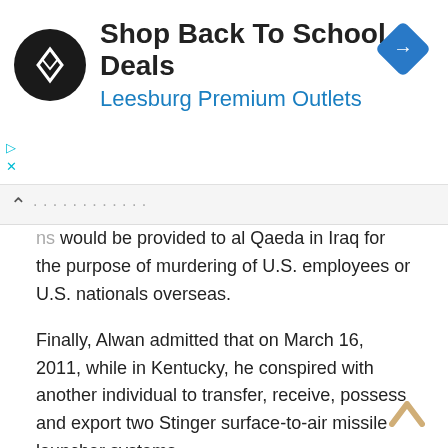[Figure (infographic): Advertisement banner for Leesburg Premium Outlets with logo (circular black icon with white infinity/overlapping diamond symbol), title 'Shop Back To School Deals', subtitle 'Leesburg Premium Outlets' in blue, and a blue diamond navigation icon in the top right.]
...ms would be provided to al Qaeda in Iraq for the purpose of murdering of U.S. employees or U.S. nationals overseas.
Finally, Alwan admitted that on March 16, 2011, while in Kentucky, he conspired with another individual to transfer, receive, possess and export two Stinger surface-to-air missile launcher systems.
Neither the bomb-making instructions, nor the Stinger missiles nor the other weapons or money transferred by Alwan while in Kentucky were actually provided to al Qaeda in Iraq, but instead were carefully controlled by law enforcement as part of an undercover operation.